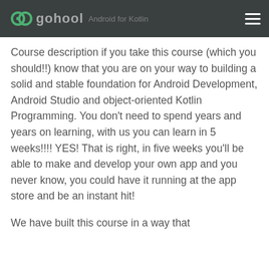gohool [navigation header]
Course description if you take this course (which you should!!) know that you are on your way to building a solid and stable foundation for Android Development, Android Studio and object-oriented Kotlin Programming. You don't need to spend years and years on learning, with us you can learn in 5 weeks!!!! YES! That is right, in five weeks you'll be able to make and develop your own app and you never know, you could have it running at the app store and be an instant hit!
We have built this course in a way that